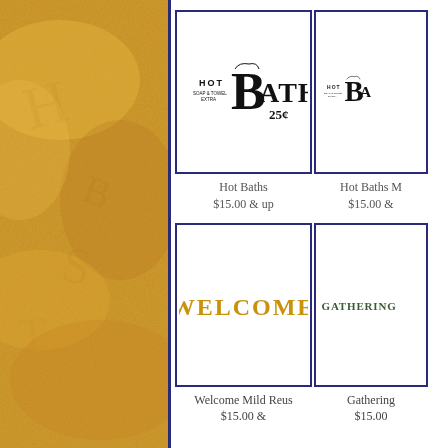[Figure (illustration): Decorative textured golden/amber background panel on the left side of the page]
[Figure (illustration): Hot Baths sign logo with 'HOT' in small caps, large serif BATHS text, and '25¢' price, soap & towel extra text]
Hot Baths
$15.00 & up
[Figure (illustration): Hot Baths sign logo (partial, cropped) - same design as left item]
Hot Baths M...
$15.00 &...
[Figure (illustration): Welcome decorative sign with large golden WELCOME text in small-caps serif font]
Welcome Mild Reus
$15.00 &...
[Figure (illustration): Gathering decorative sign with dark green GATHERING text in small-caps serif font]
Gathering
$15.00...